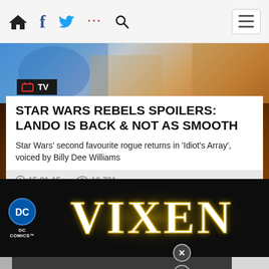Navigation bar with home, facebook, twitter, more, search icons and hamburger menu
[Figure (screenshot): Top hero image showing animated characters in blue/warm tones]
STAR WARS REBELS SPOILERS: LANDO IS BACK & NOT AS SMOOTH
Star Wars' second favourite rogue returns in 'Idiot's Array', voiced by Billy Dee Williams
15-01-15   10,731
[Figure (photo): DC Comics Vixen logo image on dark background with golden brushstroke lettering spelling VIXEN]